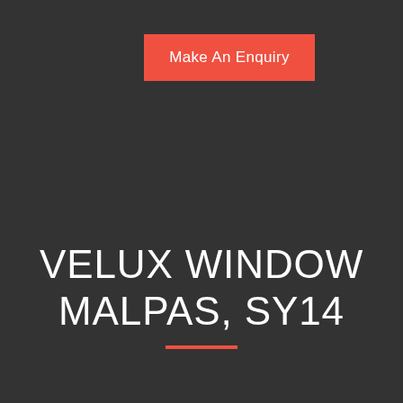Make An Enquiry
VELUX WINDOW MALPAS, SY14